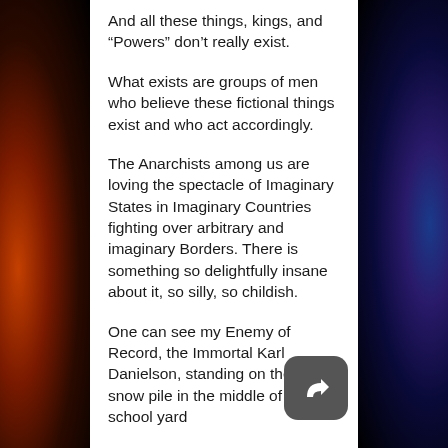And all these things, kings, and “Powers” don’t really exist.
What exists are groups of men who believe these fictional things exist and who act accordingly.
The Anarchists among us are loving the spectacle of Imaginary States in Imaginary Countries fighting over arbitrary and imaginary Borders. There is something so delightfully insane about it, so silly, so childish.
One can see my Enemy of Record, the Immortal Karl Danielson, standing on the huge snow pile in the middle of the school yard declaring “I am King of the Hill” and all the …